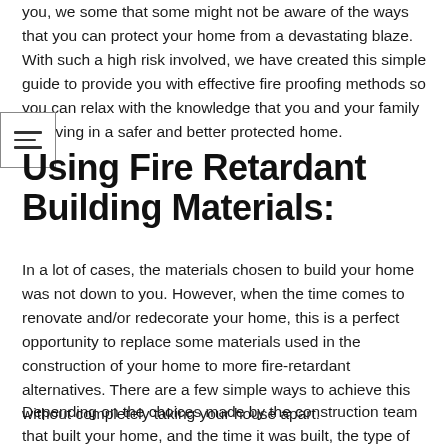you, we some that some might not be aware of the ways that you can protect your home from a devastating blaze. With such a high risk involved, we have created this simple guide to provide you with effective fire proofing methods so you can relax with the knowledge that you and your family are living in a safer and better protected home.
Using Fire Retardant Building Materials:
In a lot of cases, the materials chosen to build your home was not down to you. However, when the time comes to renovate and/or redecorate your home, this is a perfect opportunity to replace some materials used in the construction of your home to more fire-retardant alternatives. There are a few simple ways to achieve this without completely taking your house apart.
Depending on the choices made by the construction team that built your home, and the time it was built, the type of insulation used in your home could be a potential hazard. Fibreglass insulation is the ideal choice when it comes to fire safety, as